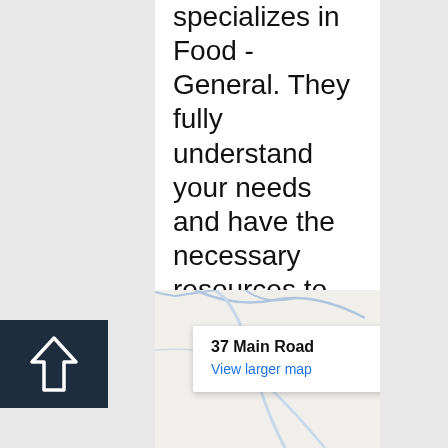specializes in Food - General. They fully understand your needs and have the necessary resources to provide this specialized service.
[Figure (map): Google Maps embed showing 37 Main Road with a popup tooltip. Roads visible as light blue/gray lines on white background. A white popup callout shows '37 Main Road' in bold and 'View larger map' as a blue link.]